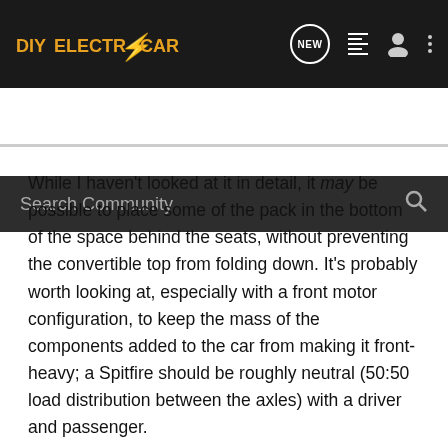DIYELECTRICCAR - NEW - [list icon] [person icon] [more icon]
Search Community
While I haven't looked at it in detail, it may be possible to place some of the pack in the bottom of the space behind the seats, without preventing the convertible top from folding down. It's probably worth looking at, especially with a front motor configuration, to keep the mass of the components added to the car from making it front-heavy; a Spitfire should be roughly neutral (50:50 load distribution between the axles) with a driver and passenger.
The small size of the Spitfire's tank is a running joke between my wife (the actual owner of our Spitfire) and myself, though published specs say that if you fill it as much as possible it holds 37.6 litres (9.9 US gallons). Between the relatively small